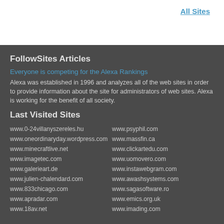All Sites
FollowSites Articles
Everyone is competing for the Alexa Rankings
Alexa was established in 1996 and analyzes all of the web sites in order to provide information about the site for administrators of web sites. Alexa is working for the benefit of all society.
Last Visited Sites
www.0-24villanyszereles.hu
www.psyphil.com
www.oneordinaryday.wordpress.com
www.massfin.ca
www.minecraftlive.net
www.clickartedu.com
www.imagetec.com
www.uomovero.com
www.galerieart.de
www.instawebgram.com
www.julien-chalendard.com
www.awashsystems.com
www.833chicago.com
www.sagasoftware.ro
www.apradar.com
www.emics.org.uk
www.18av.net
www.imading.com